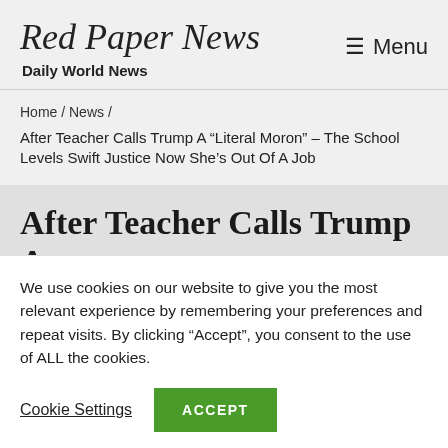Red Paper News — Daily World News
Home / News /
After Teacher Calls Trump A “Literal Moron” – The School Levels Swift Justice Now She’s Out Of A Job
After Teacher Calls Trump A
We use cookies on our website to give you the most relevant experience by remembering your preferences and repeat visits. By clicking “Accept”, you consent to the use of ALL the cookies.
Cookie Settings | ACCEPT